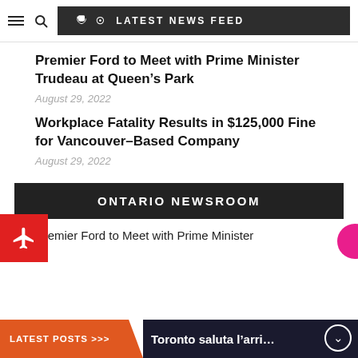LATEST NEWS FEED
Premier Ford to Meet with Prime Minister Trudeau at Queen’s Park
August 29, 2022
Workplace Fatality Results in $125,000 Fine for Vancouver-Based Company
August 29, 2022
ONTARIO NEWSROOM
1. Premier Ford to Meet with Prime Minister
LATEST POSTS >>> Toronto saluta l’arri…